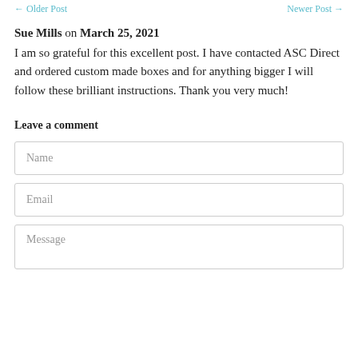← Older Post    Newer Post →
Sue Mills on March 25, 2021
I am so grateful for this excellent post. I have contacted ASC Direct and ordered custom made boxes and for anything bigger I will follow these brilliant instructions. Thank you very much!
Leave a comment
Name
Email
Message